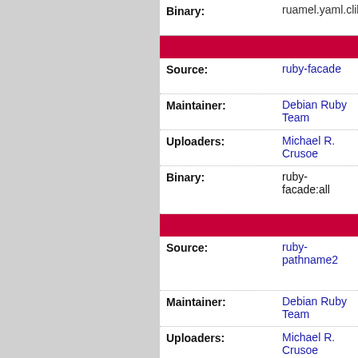| Field | Value |
| --- | --- |
| Binary: | ruamel.yaml.clib |
| [pink bar] |  |
| Source: | ruby-facade |
| Maintainer: | Debian Ruby Team |
| Uploaders: | Michael R. Crusoe |
| Binary: | ruby-facade:all |
| [pink bar] |  |
| Source: | ruby-pathname2 |
| Maintainer: | Debian Ruby Team |
| Uploaders: | Michael R. Crusoe |
| Binary: | ruby-pathname2:all |
| [pink bar] |  |
| Source: | salmon |
| Maintainer: | Debian Med Pack |